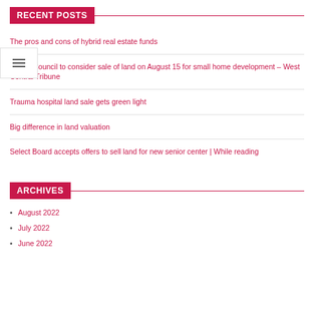RECENT POSTS
The pros and cons of hybrid real estate funds
ar City Council to consider sale of land on August 15 for small home development – West Central Tribune
Trauma hospital land sale gets green light
Big difference in land valuation
Select Board accepts offers to sell land for new senior center | While reading
ARCHIVES
August 2022
July 2022
June 2022